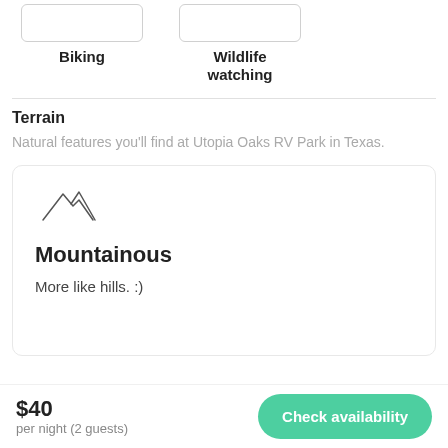[Figure (illustration): Two icon boxes for Biking and Wildlife watching activities]
Biking
Wildlife watching
Terrain
Natural features you'll find at Utopia Oaks RV Park in Texas.
[Figure (illustration): Card with mountain/hills icon showing Mountainous terrain]
Mountainous
More like hills. :)
$40
per night (2 guests)